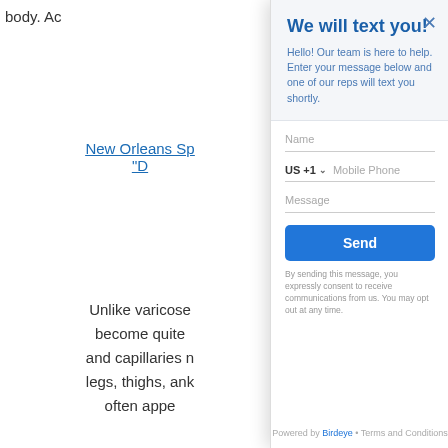body. Ac
New Orleans Sp… "D…
Unlike varicose … become quite … and capillaries n… legs, thighs, ank… often appe…
A New Orleans V…
We use cookies … our website. If y…
We will text you!
Hello! Our team is here to help. Enter your message below and one of our reps will text you shortly.
Name
US +1  Mobile Phone
Message
Send
By sending this message, you expressly consent to receive communications from us. You may opt out at any time.
Powered by Birdeye • Terms and Conditions